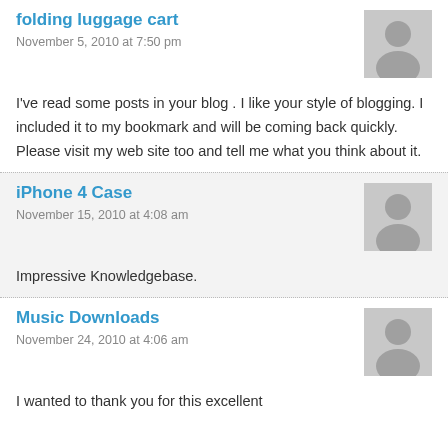folding luggage cart
November 5, 2010 at 7:50 pm
I've read some posts in your blog . I like your style of blogging. I included it to my bookmark and will be coming back quickly. Please visit my web site too and tell me what you think about it.
iPhone 4 Case
November 15, 2010 at 4:08 am
Impressive Knowledgebase.
Music Downloads
November 24, 2010 at 4:06 am
I wanted to thank you for this excellent